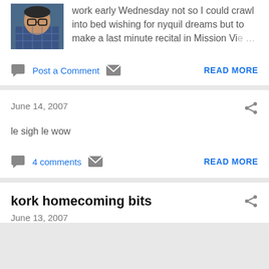work early Wednesday not so I could crawl into bed wishing for nyquil dreams but to make a last minute recital in Mission Vi… …
Post a Comment
READ MORE
June 14, 2007
le sigh le wow
4 comments
READ MORE
kork homecoming bits
June 13, 2007